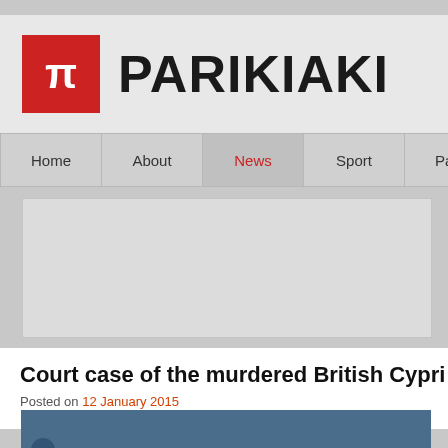[Figure (logo): Parikiaki newspaper logo — red square with white pi symbol followed by PARIKIAKI in bold black text]
Home | About | News | Sport | Paper | Events
[Figure (other): Advertisement banner placeholder (light grey rectangle)]
Court case of the murdered British Cypri...
Posted on 12 January 2015
[Figure (photo): Partial photograph with dark blue/teal background, beginning of an image related to the article]